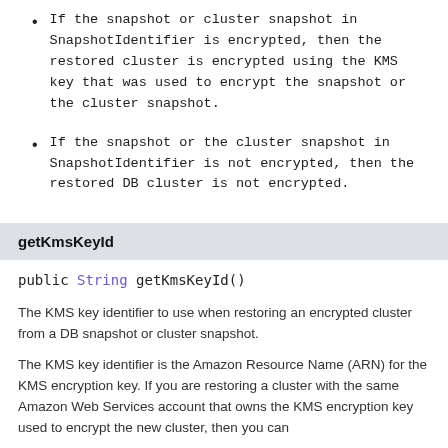If the snapshot or cluster snapshot in SnapshotIdentifier is encrypted, then the restored cluster is encrypted using the KMS key that was used to encrypt the snapshot or the cluster snapshot.
If the snapshot or the cluster snapshot in SnapshotIdentifier is not encrypted, then the restored DB cluster is not encrypted.
getKmsKeyId
public String getKmsKeyId()
The KMS key identifier to use when restoring an encrypted cluster from a DB snapshot or cluster snapshot.
The KMS key identifier is the Amazon Resource Name (ARN) for the KMS encryption key. If you are restoring a cluster with the same Amazon Web Services account that owns the KMS encryption key used to encrypt the new cluster, then you can